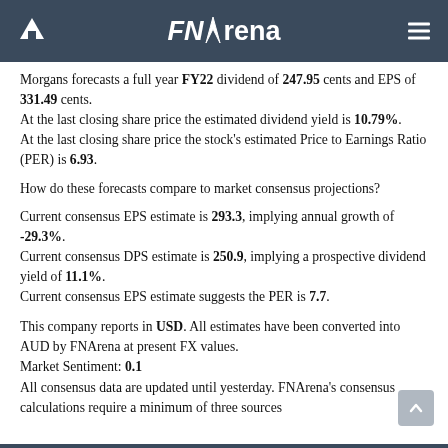FNArena
Morgans forecasts a full year FY22 dividend of 247.95 cents and EPS of 331.49 cents. At the last closing share price the estimated dividend yield is 10.79%. At the last closing share price the stock's estimated Price to Earnings Ratio (PER) is 6.93.
How do these forecasts compare to market consensus projections?
Current consensus EPS estimate is 293.3, implying annual growth of -29.3%. Current consensus DPS estimate is 250.9, implying a prospective dividend yield of 11.1%. Current consensus EPS estimate suggests the PER is 7.7.
This company reports in USD. All estimates have been converted into AUD by FNArena at present FX values. Market Sentiment: 0.1 All consensus data are updated until yesterday. FNArena's consensus calculations require a minimum of three sources